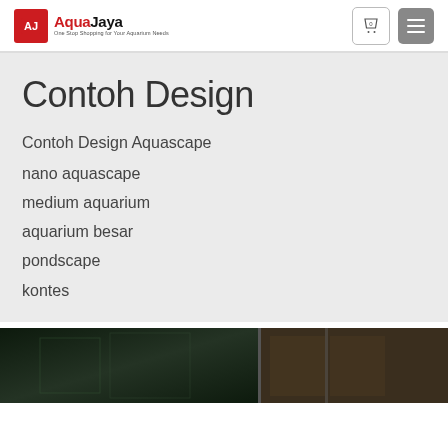AquaJaya – One Stop Shopping for Your Aquarium Needs
Contoh Design
Contoh Design Aquascape
nano aquascape
medium aquarium
aquarium besar
pondscape
kontes
[Figure (photo): Dark aquarium photo strip showing tanks/glass panels]